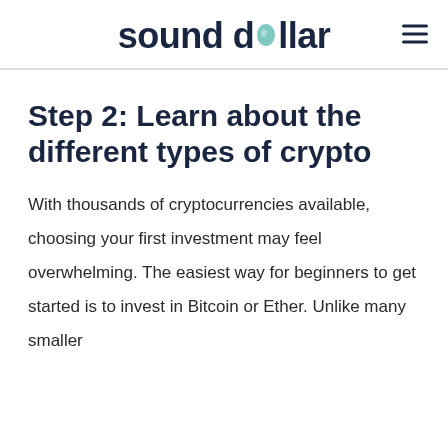sound dollar
Step 2: Learn about the different types of crypto
With thousands of cryptocurrencies available, choosing your first investment may feel overwhelming. The easiest way for beginners to get started is to invest in Bitcoin or Ether. Unlike many smaller